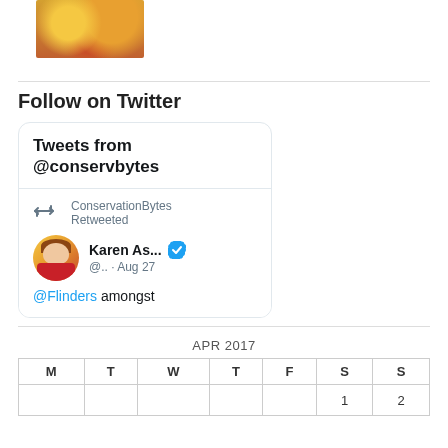[Figure (photo): Small thumbnail image, appears to show people with yellow/orange colors]
Follow on Twitter
[Figure (screenshot): Twitter widget showing Tweets from @conservbytes. ConservationBytes Retweeted Karen As... @.. · Aug 27. @Flinders amongst]
APR 2017
| M | T | W | T | F | S | S |
| --- | --- | --- | --- | --- | --- | --- |
|  |  |  |  |  | 1 | 2 |